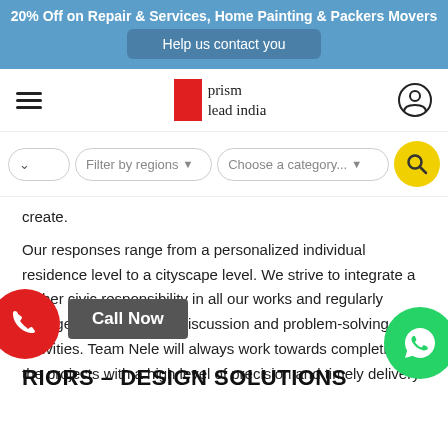20% Off on Repair & Services, Home Painting & Packers Movers
Help us contact you
[Figure (logo): Prism Lead India logo with red rectangle and text]
[Figure (screenshot): Search bar with Filter by regions and Choose a category dropdowns and yellow search button]
create.
Our responses range from a personalized individual residence level to a cityscape level. We strive to integrate a higher civic responsibility in all our works and regularly engage in system-level discussion and problem-solving activities. Team Nele will always work towards completing the projects with a high level of precision and timely delivery.
INTERIORS - DESIGN SOLUTIONS